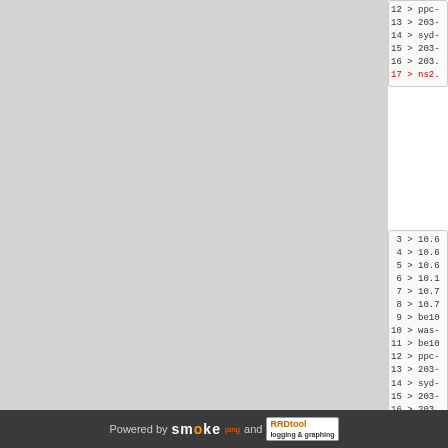12 > ppc-
13 > 203-
14 > syd-
15 > 203-
16 > 203.
17 > ns2.
3 > 10.6
4 > 10.6
5 > 10.6
6 > 10.1
7 > 10.7
8 > 10.7
9 > be10
10 > was-
11 > be10
12 > ppc-
13 > 203-
14 > syd-
15 > 203-
16 > 203.
17 > ns2.
Powered by smokeping and RRDtool